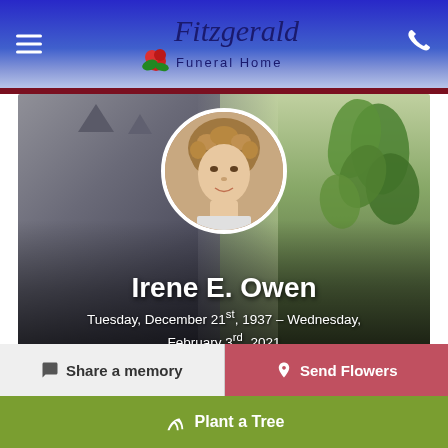Fitzgerald Funeral Home
[Figure (photo): Hero background photo showing a grey cat on the left and a green leafy plant on the right, with a circular portrait photo of Irene E. Owen in the center top]
Irene E. Owen
Tuesday, December 21st, 1937 – Wednesday, February 3rd, 2021
Share a memory
Send Flowers
Plant a Tree